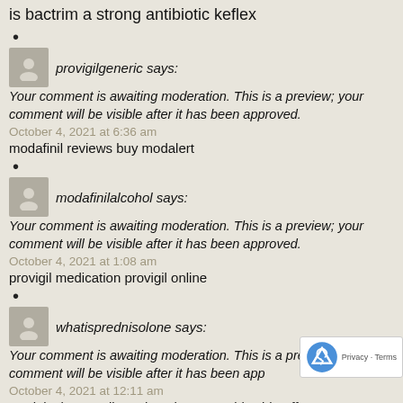is bactrim a strong antibiotic keflex
provigilgeneric says:
Your comment is awaiting moderation. This is a preview; your comment will be visible after it has been approved.
October 4, 2021 at 6:36 am
modafinil reviews buy modalert
modafinilalcohol says:
Your comment is awaiting moderation. This is a preview; your comment will be visible after it has been approved.
October 4, 2021 at 1:08 am
provigil medication provigil online
whatisprednisolone says:
Your comment is awaiting moderation. This is a preview; your comment will be visible after it has been app
October 4, 2021 at 12:11 am
prednisolone sodium phosphate steroids side effe